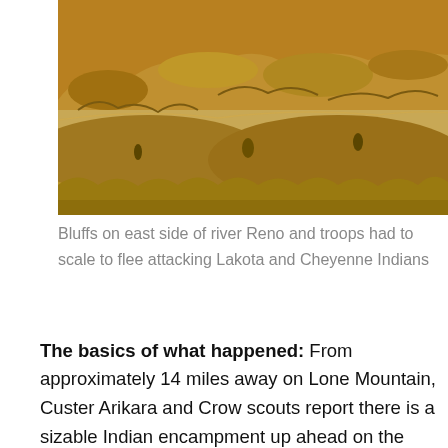[Figure (photo): Photograph of bluffs and rocky terrain on the east side of the Little Bighorn River, taken in sepia/golden tones showing dry grassy hillsides and eroded badlands-style terrain.]
Bluffs on east side of river Reno and troops had to scale to flee attacking Lakota and Cheyenne Indians
The basics of what happened: From approximately 14 miles away on Lone Mountain, Custer Arikara and Crow scouts report there is a sizable Indian encampment up ahead on the Little Bighorn River. Custer and his 600+ troops approach the river from south and east of the river. Thinking they have been discovered by the Indians, Custer divides his companies into three (one set of troops each commanded by him, Maj. Reno and Capt. Benteen). He orders Reno and his 225 troops to cross the river well south of the Indian encampment and charge the